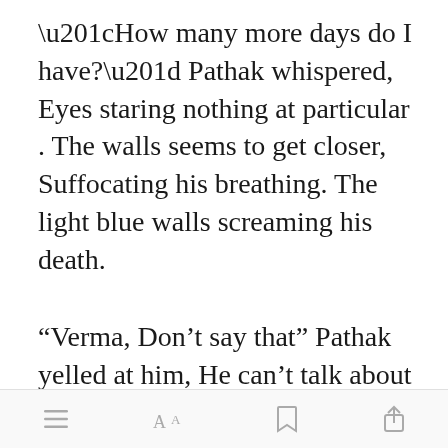“How many more days do I have?” Pathak whispered, Eyes staring nothing at particular . The walls seems to get closer, Suffocating his breathing. The light blue walls screaming his death.
“Verma, Don’t say that” Pathak yelled at him, He can’t talk about D-word . He can’t leave him. Not this soon .
[Figure (screenshot): Mobile app footer toolbar with icons: hamburger menu, font size (AA), bookmark, and share]